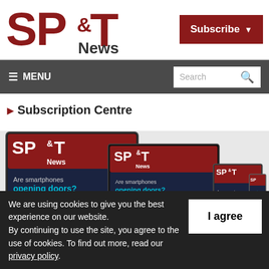[Figure (logo): SP&T News logo in dark red with bold serif letters]
[Figure (other): Subscribe button with dropdown arrow on dark red background]
≡ MENU    Search 🔍
▶ Subscription Centre
[Figure (photo): SP&T News magazine shown on multiple devices: tablet, phone, and small screens displaying 'Are smartphones opening doors?' cover story]
We are using cookies to give you the best experience on our website.
By continuing to use the site, you agree to the use of cookies. To find out more, read our privacy policy.
[Figure (other): I agree button on white background]